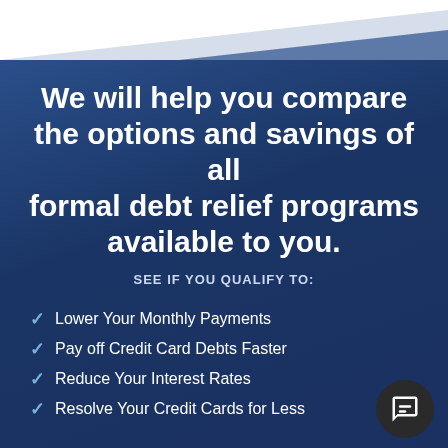We will help you compare the options and savings of all formal debt relief programs available to you.
SEE IF YOU QUALIFY TO:
Lower Your Monthly Payments
Pay off Credit Card Debts Faster
Reduce Your Interest Rates
Resolve Your Credit Cards for Less